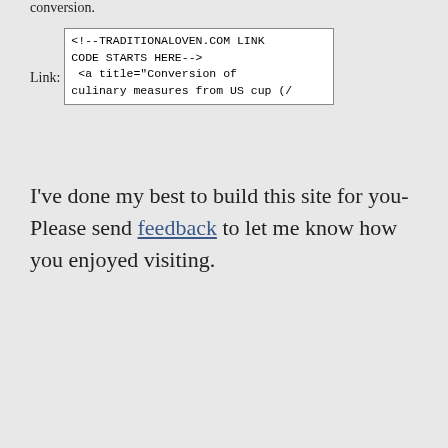conversion.
Link: <!--TRADITIONALOVEN.COM LINK CODE STARTS HERE--> <a title="Conversion of culinary measures from US cup (/
I've done my best to build this site for you- Please send feedback to let me know how you enjoyed visiting.